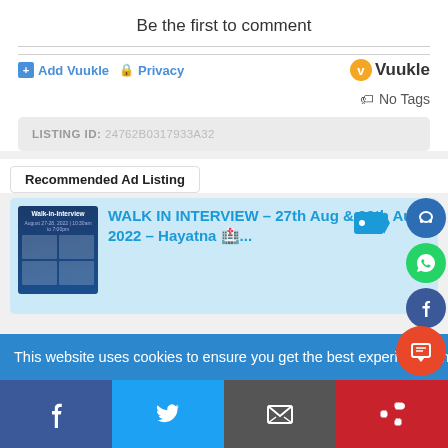Be the first to comment
Add Vuukle  Privacy
[Figure (logo): Vuukle logo with orange V circle and dark text]
No Tags
LISTING ID: 24762B0317933A32
Recommended Ad Listing
[Figure (screenshot): Walk-in-Interview flyer thumbnail]
WALK IN INTERVIEW – 27th Aug & 28th Aug 2022 – Hayatna 🏥...
This website uses cookies to ensure you get the best experience on our website.  Learn more